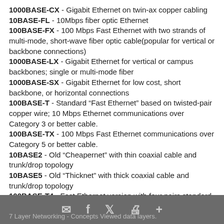1000BASE-CX - Gigabit Ethernet on twin-ax copper cabling
10BASE-FL - 10Mbps fiber optic Ethernet
100BASE-FX - 100 Mbps Fast Ethernet with two strands of multi-mode, short-wave fiber optic cable(popular for vertical or backbone connections)
1000BASE-LX - Gigabit Ethernet for vertical or campus backbones; single or multi-mode fiber
1000BASE-SX - Gigabit Ethernet for low cost, short backbone, or horizontal connections
100BASE-T - Standard “Fast Ethernet” based on twisted-pair copper wire; 10 Mbps Ethernet communications over Category 3 or better cable.
100BASE-TX - 100 Mbps Fast Ethernet communications over Category 5 or better cable.
10BASE2 - Old “Cheapernet” with thin coaxial cable and trunk/drop topology
10BASE5 - Old “Thicknet” with thick coaxial cable and trunk/drop topology
100BASE-T4 - Fast Ethernet version with four pairs standard UTP cabling
7 Layer Networking - Concepts Viewed data layers.